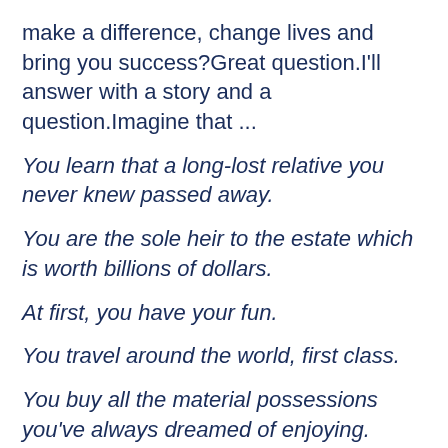make a difference, change lives and bring you success?Great question.I'll answer with a story and a question.Imagine that ...
You learn that a long-lost relative you never knew passed away.
You are the sole heir to the estate which is worth billions of dollars.
At first, you have your fun.
You travel around the world, first class.
You buy all the material possessions you've always dreamed of enjoying.
You've visited more tropical paradises than you